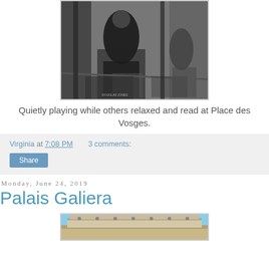[Figure (photo): Black and white photograph of a person sitting on a bench playing what appears to be a musical instrument or writing, at Place des Vosges, with trees and other people visible in the background]
Quietly playing while others relaxed and read at Place des Vosges.
Virginia at 7:08 PM    3 comments:
Share
Monday, June 24, 2019
Palais Galiera
[Figure (photo): Color photograph showing the top facade of the Palais Galiera building against a blue sky]